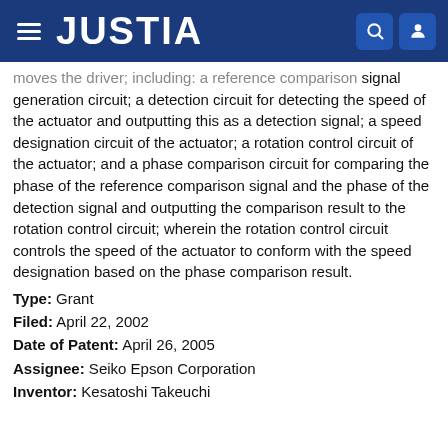JUSTIA
moves the driver; including: a reference comparison signal generation circuit; a detection circuit for detecting the speed of the actuator and outputting this as a detection signal; a speed designation circuit of the actuator; a rotation control circuit of the actuator; and a phase comparison circuit for comparing the phase of the reference comparison signal and the phase of the detection signal and outputting the comparison result to the rotation control circuit; wherein the rotation control circuit controls the speed of the actuator to conform with the speed designation based on the phase comparison result.
Type: Grant
Filed: April 22, 2002
Date of Patent: April 26, 2005
Assignee: Seiko Epson Corporation
Inventor: Kesatoshi Takeuchi